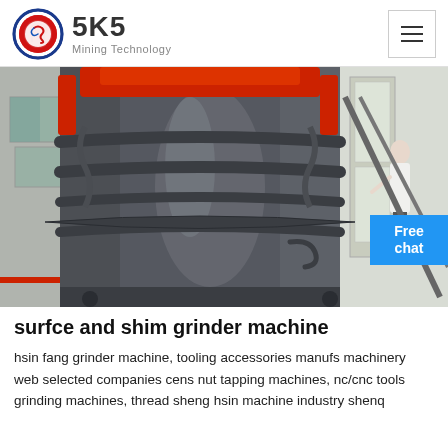SKS Mining Technology
[Figure (photo): Close-up photo of a large industrial grinding machine with dark grey cylindrical body, red mechanical arms/clamps, spiral flight components, and supporting metal frame structure. A person in white clothing is partially visible on the right side.]
surfce and shim grinder machine
hsin fang grinder machine, tooling accessories manufs machinery web selected companies cens nut tapping machines, nc/cnc tools grinding machines, thread sheng hsin machine industry shenq